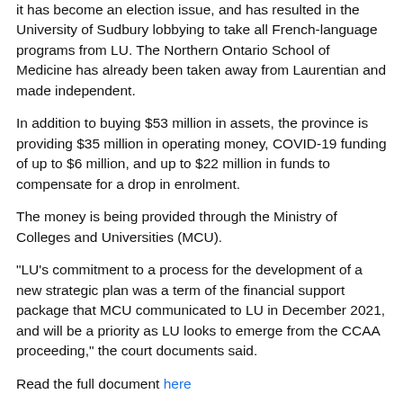it has become an election issue, and has resulted in the University of Sudbury lobbying to take all French-language programs from LU. The Northern Ontario School of Medicine has already been taken away from Laurentian and made independent.
In addition to buying $53 million in assets, the province is providing $35 million in operating money, COVID-19 funding of up to $6 million, and up to $22 million in funds to compensate for a drop in enrolment.
The money is being provided through the Ministry of Colleges and Universities (MCU).
"LU's commitment to a process for the development of a new strategic plan was a term of the financial support package that MCU communicated to LU in December 2021, and will be a priority as LU looks to emerge from the CCAA proceeding," the court documents said.
Read the full document here